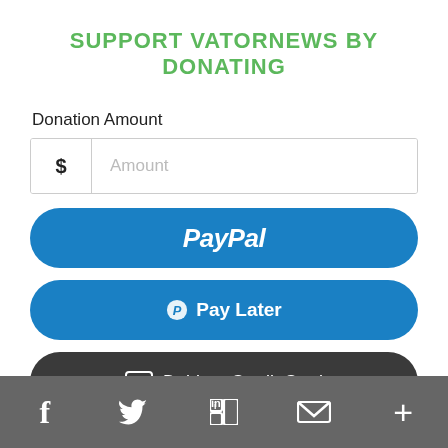SUPPORT VATORNEWS BY DONATING
Donation Amount
[Figure (screenshot): Donation amount input field with dollar sign prefix and placeholder text 'Amount']
[Figure (screenshot): PayPal payment button (blue rounded)]
[Figure (screenshot): Pay Later payment button (blue rounded) with PayPal P logo]
[Figure (screenshot): Debit or Credit Card payment button (dark/black rounded) with card icon]
Powered by PayPal
f  Twitter  in  M  +